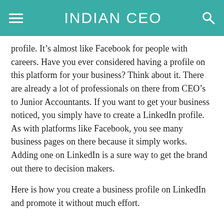INDIAN CEO
profile. It’s almost like Facebook for people with careers. Have you ever considered having a profile on this platform for your business? Think about it. There are already a lot of professionals on there from CEO’s to Junior Accountants. If you want to get your business noticed, you simply have to create a LinkedIn profile. As with platforms like Facebook, you see many business pages on there because it simply works. Adding one on LinkedIn is a sure way to get the brand out there to decision makers.
Here is how you create a business profile on LinkedIn and promote it without much effort.
1. Company information
Start your business profile by gathering all your company information first. At the top of the LinkedIn page, select